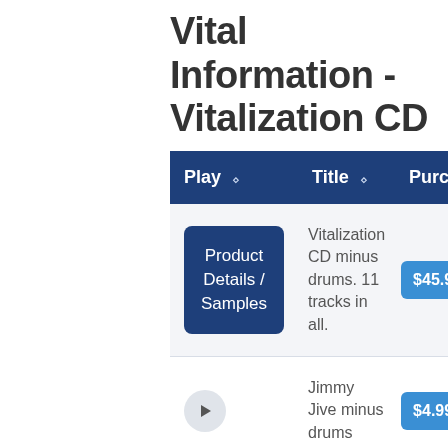Vital Information - Vitalization CD
| Play | Title | Purchase |
| --- | --- | --- |
| Product Details / Samples | Vitalization CD minus drums. 11 tracks in all. | $45.99 |
| ▶ | Jimmy Jive minus drums | $4.99 – |
| ▶ | Groove Time minus drums | $4.99 – |